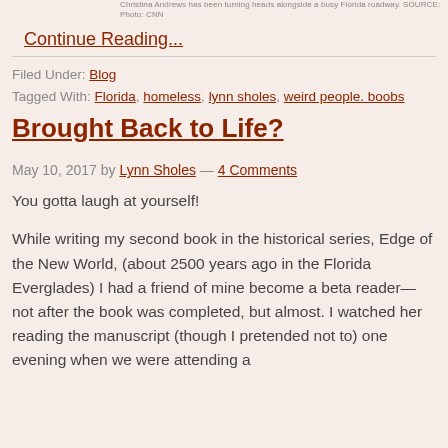Christina Andrews has been turning heads alongside a busy Florida roadway. SOURCE: Photo: CNN
Continue Reading...
Filed Under: Blog
Tagged With: Florida, homeless, lynn sholes, weird people. boobs
Brought Back to Life?
May 10, 2017 by Lynn Sholes — 4 Comments
You gotta laugh at yourself!
While writing my second book in the historical series, Edge of the New World, (about 2500 years ago in the Florida Everglades) I had a friend of mine become a beta reader—not after the book was completed, but almost. I watched her reading the manuscript (though I pretended not to) one evening when we were attending a